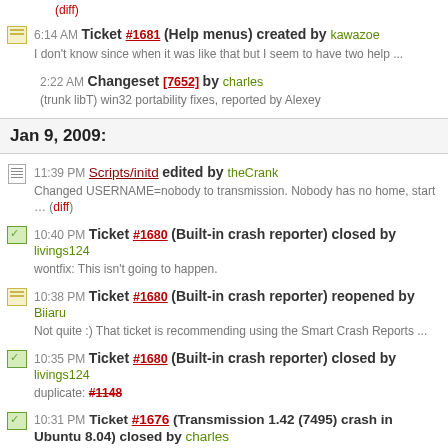(diff)
6:14 AM Ticket #1681 (Help menus) created by kawazoe — I don't know since when it was like that but I seem to have two help ...
2:22 AM Changeset [7652] by charles — (trunk libT) win32 portability fixes, reported by Alexey
Jan 9, 2009:
11:39 PM Scripts/initd edited by theCrank — Changed USERNAME=nobody to transmission. Nobody has no home, start ... (diff)
10:40 PM Ticket #1680 (Built-in crash reporter) closed by livings124 — wontfix: This isn't going to happen.
10:38 PM Ticket #1680 (Built-in crash reporter) reopened by Biiaru — Not quite :) That ticket is recommending using the Smart Crash Reports ...
10:35 PM Ticket #1680 (Built-in crash reporter) closed by livings124 — duplicate: #1148
10:31 PM Ticket #1676 (Transmission 1.42 (7495) crash in Ubuntu 8.04) closed by charles — invalid: Closing this ticket as incomplete; please reopen when more information ...
8:44 PM Ticket #1639 (Transmission quits when disk is full) closed by charles